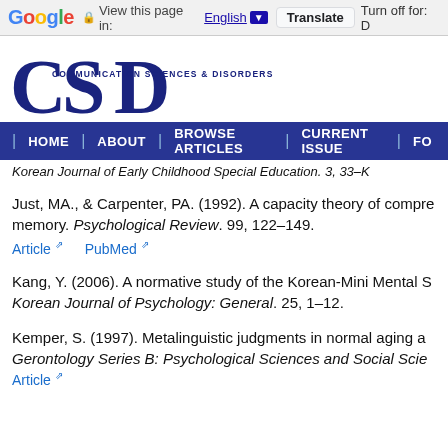Google | View this page in: English [▼] | Translate | Turn off for: D
[Figure (logo): CSD Communication Sciences & Disorders journal logo with large overlapping C, S, D letters in dark navy blue and subtitle text]
| HOME | ABOUT | BROWSE ARTICLES | CURRENT ISSUE | FO
Korean Journal of Early Childhood Special Education. 3, 33–K
Just, MA., & Carpenter, PA. (1992). A capacity theory of comprehension... memory. Psychological Review. 99, 122–149.
Article  PubMed
Kang, Y. (2006). A normative study of the Korean-Mini Mental S... Korean Journal of Psychology: General. 25, 1–12.
Kemper, S. (1997). Metalinguistic judgments in normal aging a... Gerontology Series B: Psychological Sciences and Social Scie... Article